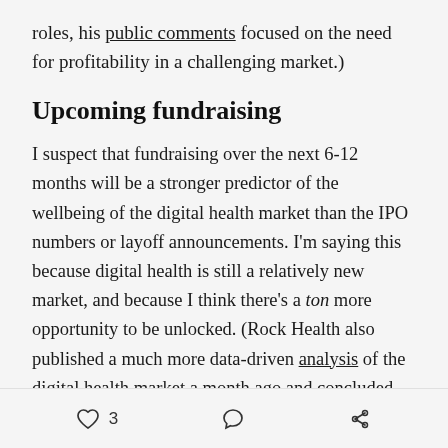roles, his public comments focused on the need for profitability in a challenging market.)
Upcoming fundraising
I suspect that fundraising over the next 6-12 months will be a stronger predictor of the wellbeing of the digital health market than the IPO numbers or layoff announcements. I'm saying this because digital health is still a relatively new market, and because I think there's a ton more opportunity to be unlocked. (Rock Health also published a much more data-driven analysis of the digital health market a month ago and concluded that while it's “frothy,” it's not a bubble.)
There might be a slowdown ahead, though. Matthew
3